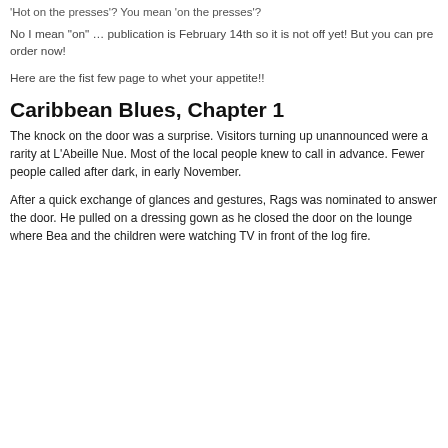'Hot on the presses'? You mean 'on the presses'?
No I mean "on" … publication is February 14th so it is not off yet!  But you can pre order now!
Here are the fist few page to whet your appetite!!
Caribbean Blues, Chapter 1
The knock on the door was a surprise. Visitors turning up unannounced were a rarity at L'Abeille Nue. Most of the local people knew to call in advance. Fewer people called after dark, in early November.
After a quick exchange of glances and gestures, Rags was nominated to answer the door. He pulled on a dressing gown as he closed the door on the lounge where Bea and the children were watching TV in front of the log fire.